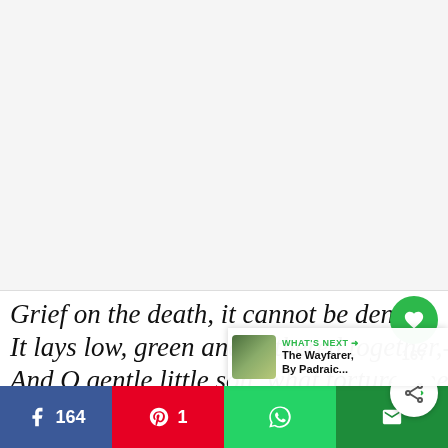[Figure (illustration): Large light gray rectangular image placeholder area at top of page]
Grief on the death, it cannot be denied,
It lays low, green and withered together,-
And O gentle little son, what tortures me is
That your fair body should be...
Like 167 | Share | Pinterest 1 | WhatsApp | Email
WHAT'S NEXT → The Wayfarer, By Padraic...